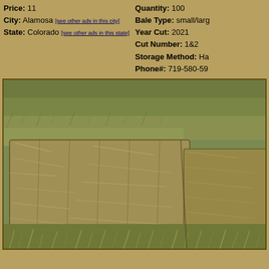Price: 11
City: Alamosa [see other ads in this city]
State: Colorado [see other ads in this state]
Quantity: 100
Bale Type: small/larg
Year Cut: 2021
Cut Number: 1&2
Storage Method: Ha
Phone#: 719-580-59
[Figure (photo): Photograph of hay bales stacked in a field with dry grass and straw visible, taken outdoors]